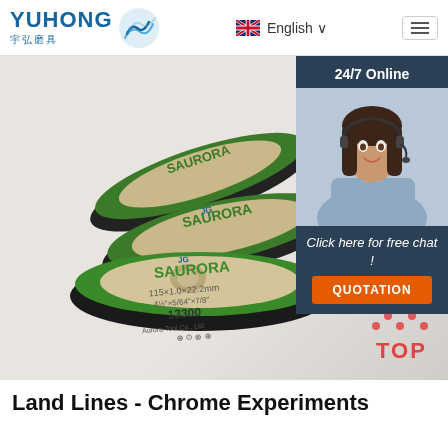[Figure (logo): YUHONG 宇弘磨具 logo with blue wave icon]
English ∨
[Figure (photo): Three green and black AURORA cutting/grinding discs fanned out on white background]
[Figure (infographic): 24/7 Online chat widget with photo of woman with headset, 'Click here for free chat!' text and orange QUOTATION button]
[Figure (illustration): TOP button with orange dots arranged in triangle above the word TOP in orange]
Land Lines - Chrome Experiments